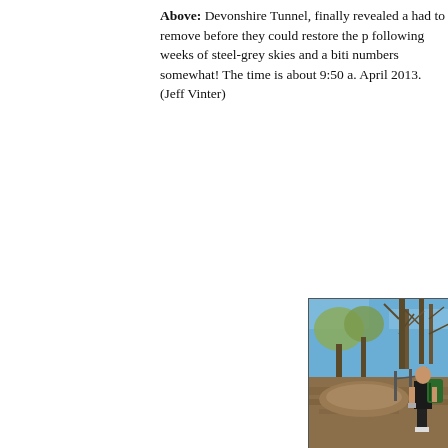Above: Devonshire Tunnel, finally revealed a had to remove before they could restore the p following weeks of steel-grey skies and a biti numbers somewhat! The time is about 9:50 a. April 2013. (Jeff Vinter)
[Figure (photo): Photo of a person wearing a green backpack standing on an earthen path or cleared ground with bare trees visible against a blue sky in the background, taken at Devonshire Tunnel, April 2013.]